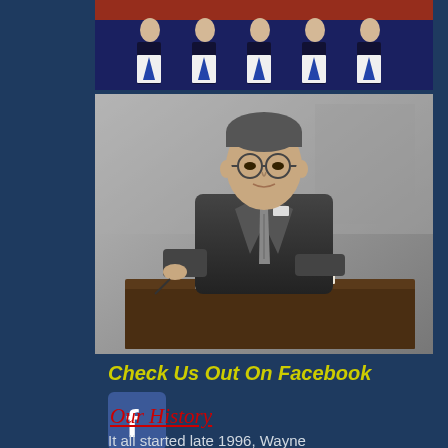[Figure (photo): Group of men in formal attire wearing Masonic aprons, standing in a row]
[Figure (photo): Black and white historical photograph of a man in a suit sitting at a desk writing]
Check Us Out On Facebook
[Figure (logo): Facebook 'f' logo icon in a blue rounded square]
Our History
It all started late 1996, Wayne